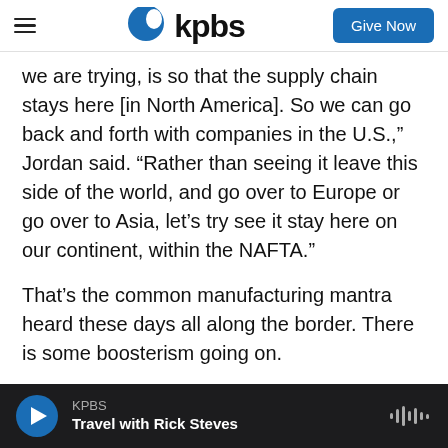kpbs — Give Now
we are trying, is so that the supply chain stays here [in North America]. So we can go back and forth with companies in the U.S.,” Jordan said. “Rather than seeing it leave this side of the world, and go over to Europe or go over to Asia, let’s try see it stay here on our continent, within the NAFTA.”
That’s the common manufacturing mantra heard these days all along the border. There is some boosterism going on.
Yet global manufacturing trends can change quickly. Shifts in exchange rates or intensified
KPBS — Travel with Rick Steves